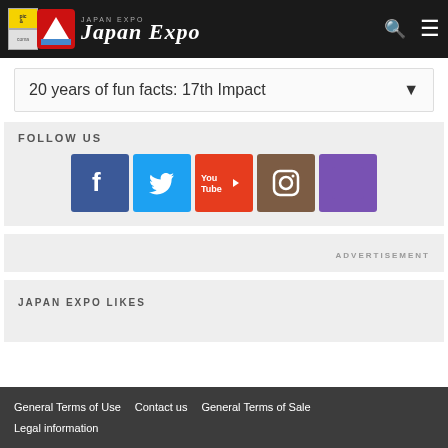Japan Expo
20 years of fun facts: 17th Impact
FOLLOW US
[Figure (infographic): Social media icons: Facebook, Twitter, YouTube, Instagram, and a purple social icon]
ADVERTISEMENT
JAPAN EXPO LIKES
General Terms of Use   Contact us   General Terms of Sale   Legal information